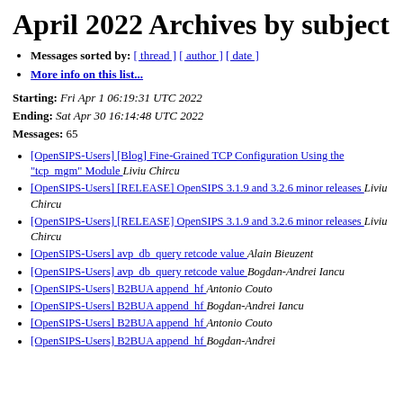April 2022 Archives by subject
Messages sorted by: [ thread ] [ author ] [ date ]
More info on this list...
Starting: Fri Apr 1 06:19:31 UTC 2022
Ending: Sat Apr 30 16:14:48 UTC 2022
Messages: 65
[OpenSIPS-Users] [Blog] Fine-Grained TCP Configuration Using the "tcp_mgm" Module  Liviu Chircu
[OpenSIPS-Users] [RELEASE] OpenSIPS 3.1.9 and 3.2.6 minor releases  Liviu Chircu
[OpenSIPS-Users] [RELEASE] OpenSIPS 3.1.9 and 3.2.6 minor releases  Liviu Chircu
[OpenSIPS-Users] avp_db_query retcode value  Alain Bieuzent
[OpenSIPS-Users] avp_db_query retcode value  Bogdan-Andrei Iancu
[OpenSIPS-Users] B2BUA append_hf  Antonio Couto
[OpenSIPS-Users] B2BUA append_hf  Bogdan-Andrei Iancu
[OpenSIPS-Users] B2BUA append_hf  Antonio Couto
[OpenSIPS-Users] B2BUA append_hf  Bogdan-Andrei